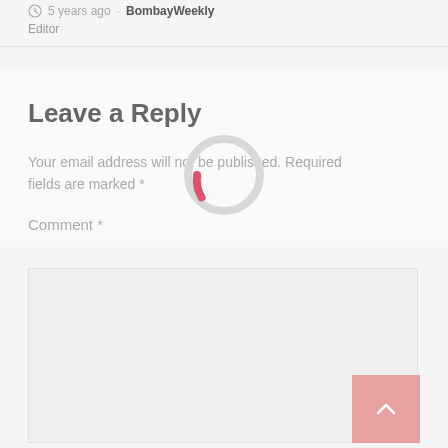5 years ago · BombayWeekly
Editor
Leave a Reply
Your email address will not be published. Required fields are marked *
[Figure (infographic): Loading spinner: a circular ring mostly gray with a pink/red arc at the bottom-left, indicating a loading state]
Comment *